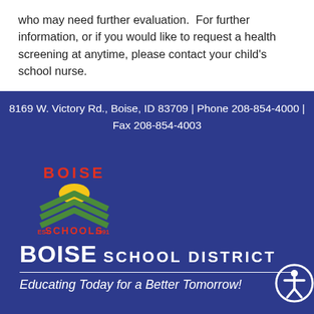who may need further evaluation.  For further information, or if you would like to request a health screening at anytime, please contact your child's school nurse.
8169 W. Victory Rd., Boise, ID 83709 | Phone 208-854-4000 | Fax 208-854-4003
[Figure (logo): Boise Schools logo with green chevrons, yellow sun, red text BOISE on top and SCHOOLS on bottom, EST. 1991]
BOISE SCHOOL DISTRICT
Educating Today for a Better Tomorrow!
© Boise School District